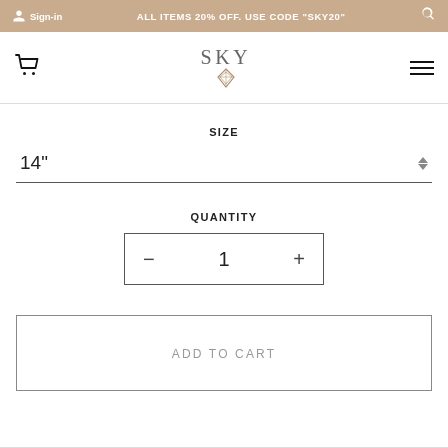Sign-in  ALL ITEMS 20% OFF. USE CODE "SKY20"  🔍
[Figure (logo): SKY brand logo with decorative diamond/crystal icon below the text]
SIZE
14"
QUANTITY
- 1 +
ADD TO CART